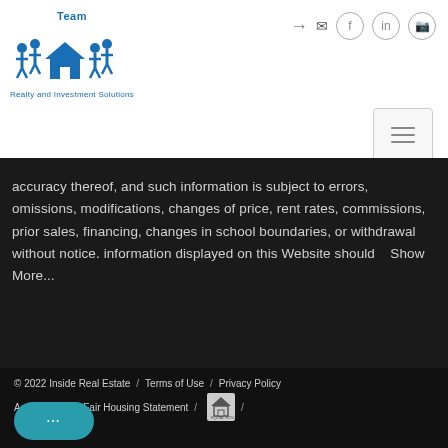[Figure (logo): Team Realty and Investment Solutions logo with blue house icons and figures]
accuracy thereof, and such information is subject to errors, omissions, modifications, changes of price, rent rates, commissions, prior sales, financing, changes in school boundaries, or withdrawal without notice. information displayed on this Website should   Show More...
© 2022 Inside Real Estate / Terms of Use / Privacy Policy / Accessibility / Fair Housing Statement /